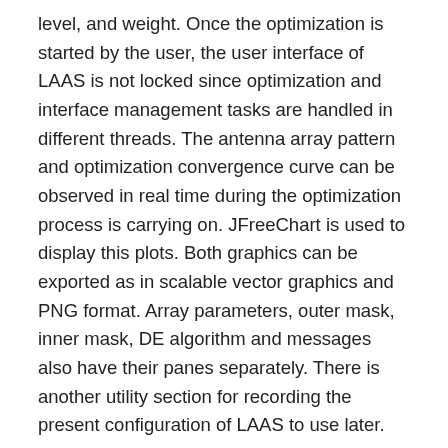level, and weight. Once the optimization is started by the user, the user interface of LAAS is not locked since optimization and interface management tasks are handled in different threads. The antenna array pattern and optimization convergence curve can be observed in real time during the optimization process is carrying on. JFreeChart is used to display this plots. Both graphics can be exported as in scalable vector graphics and PNG format. Array parameters, outer mask, inner mask, DE algorithm and messages also have their panes separately. There is another utility section for recording the present configuration of LAAS to use later.
In this web site you can download LAAS software. You can find it in executable file format for Windows operating system. If you want a runnable JAR file for LAAS, it is also ready to download. If you want to analyze and modify the source code of LAAS, you can access its link at github.com web site. All kind of information about LAAS can be found